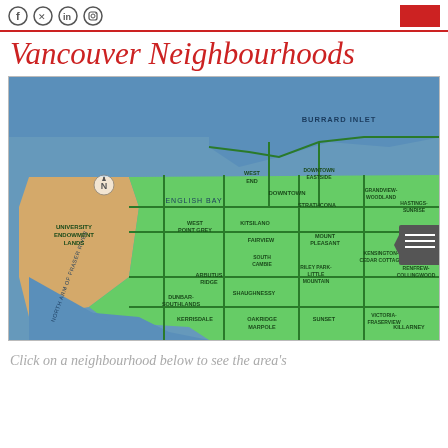Social icons and navigation header
Vancouver Neighbourhoods
[Figure (map): Map of Vancouver neighbourhoods showing districts including University Endowment Lands, West Point Grey, Kitsilano, Arbutus Ridge, Dunbar-Southlands, Kerrisdale, West End, Downtown, Downtown Eastside, Strathcona, Grandview-Woodland, Fairview, South Cambie, Shaughnessy, Oakridge, Marpole, Mount Pleasant, Riley Park-Little Mountain, Kensington-Cedar Cottage, Sunset, Victoria-Fraserview, Killarney, Renfrew-Collingwood, Hastings-Sunrise. Water bodies: Burrard Inlet, English Bay, North Arm of Fraser River.]
Click on a neighbourhood below to see the area's